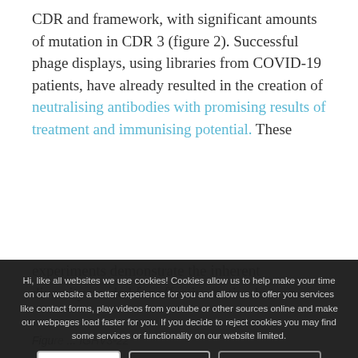CDR and framework, with significant amounts of mutation in CDR 3 (figure 2). Successful phage displays, using libraries from COVID-19 patients, have already resulted in the creation of neutralising antibodies with promising results of treatment and immunising potential. These experiments demonstrate the inherent diversity needed for effective native human antibody responses.
Hi, like all websites we use cookies! Cookies allow us to help make your time on our website a better experience for you and allow us to offer you services like contact forms, play videos from youtube or other sources online and make our webpages load faster for you. If you decide to reject cookies you may find some services or functionality on our website limited.
Figure ... IGHV3-22